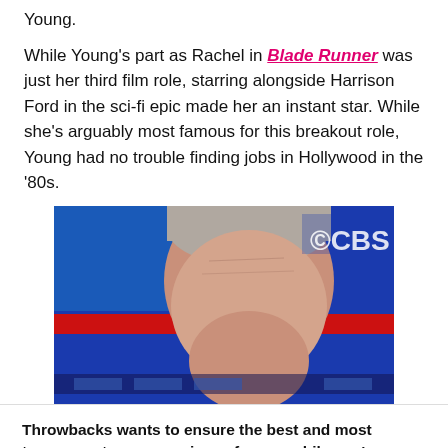Young.
While Young's part as Rachel in Blade Runner was just her third film role, starring alongside Harrison Ford in the sci-fi epic made her an instant star. While she's arguably most famous for this breakout role, Young had no trouble finding jobs in Hollywood in the '80s.
[Figure (photo): A man with grey/white hair bowing his head in front of a blue and red background with a CBS logo visible in the upper right corner, appears to be at a political debate or television event.]
Throwbacks wants to ensure the best and most transparent user experience for you while you're on our site. We use technologies like cookies to enhance that experience. By continuing, you are agreeing to the use of these technologies. You can read our Privacy Policy to learn more about how your info is used.
I AGREE, LET'S GO!